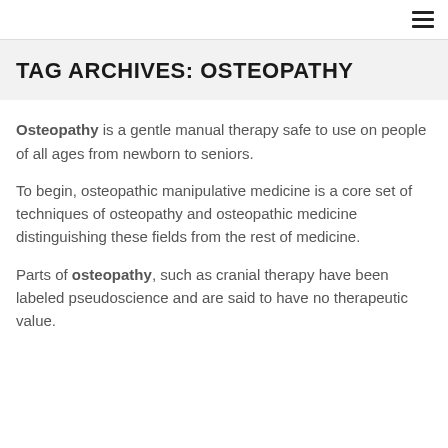☰
TAG ARCHIVES: OSTEOPATHY
Osteopathy is a gentle manual therapy safe to use on people of all ages from newborn to seniors.
To begin, osteopathic manipulative medicine is a core set of techniques of osteopathy and osteopathic medicine distinguishing these fields from the rest of medicine.
Parts of osteopathy, such as cranial therapy have been labeled pseudoscience and are said to have no therapeutic value.